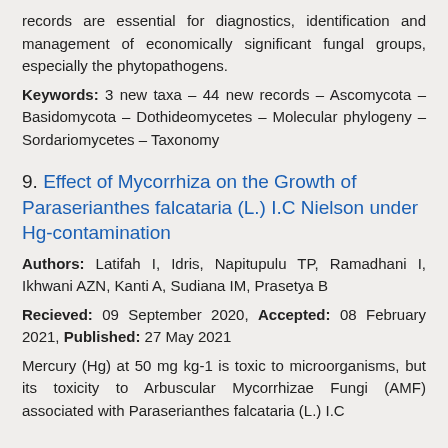records are essential for diagnostics, identification and management of economically significant fungal groups, especially the phytopathogens.
Keywords: 3 new taxa – 44 new records – Ascomycota – Basidomycota – Dothideomycetes – Molecular phylogeny – Sordariomycetes – Taxonomy
9. Effect of Mycorrhiza on the Growth of Paraserianthes falcataria (L.) I.C Nielson under Hg-contamination
Authors: Latifah I, Idris, Napitupulu TP, Ramadhani I, Ikhwani AZN, Kanti A, Sudiana IM, Prasetya B
Recieved: 09 September 2020, Accepted: 08 February 2021, Published: 27 May 2021
Mercury (Hg) at 50 mg kg-1 is toxic to microorganisms, but its toxicity to Arbuscular Mycorrhizae Fungi (AMF) associated with Paraserianthes falcataria (L.) I.C